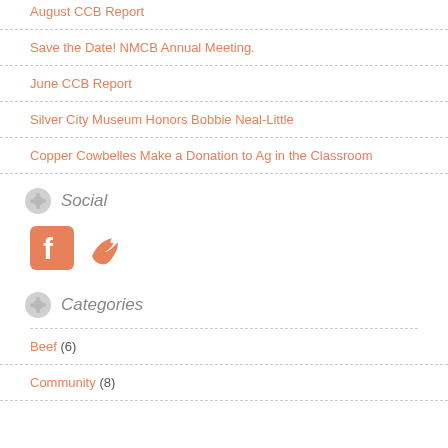August CCB Report
Save the Date! NMCB Annual Meeting.
June CCB Report
Silver City Museum Honors Bobbie Neal-Little
Copper Cowbelles Make a Donation to Ag in the Classroom
Social
[Figure (logo): Facebook and Twitter social media icons]
Categories
Beef (6)
Community (8)